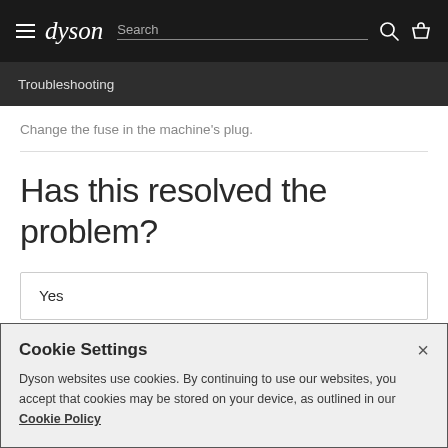dyson | Search
Troubleshooting
Change the fuse in the machine's plug.
Has this resolved the problem?
Yes
Cookie Settings
Dyson websites use cookies. By continuing to use our websites, you accept that cookies may be stored on your device, as outlined in our Cookie Policy